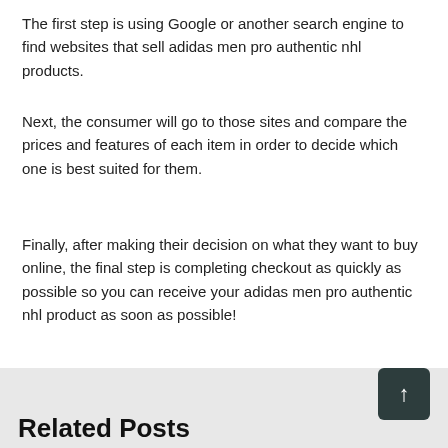The first step is using Google or another search engine to find websites that sell adidas men pro authentic nhl products.
Next, the consumer will go to those sites and compare the prices and features of each item in order to decide which one is best suited for them.
Finally, after making their decision on what they want to buy online, the final step is completing checkout as quickly as possible so you can receive your adidas men pro authentic nhl product as soon as possible!
Related Posts